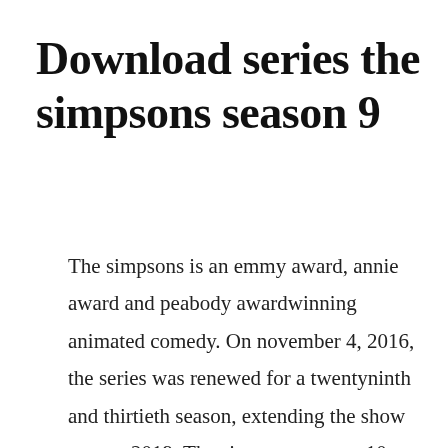Download series the simpsons season 9
The simpsons is an emmy award, annie award and peabody awardwinning animated comedy. On november 4, 2016, the series was renewed for a twentyninth and thirtieth season, extending the show to may 2019. The simpsons season 10 complete s10 remastered hq 720p. Watch the simpsons episodes online